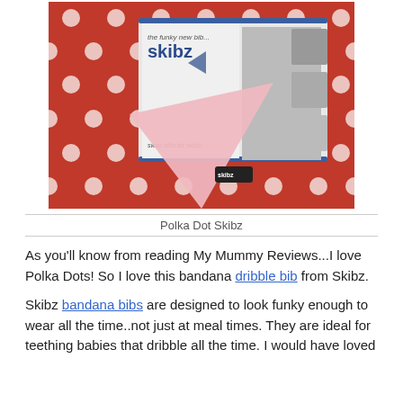[Figure (photo): Product photo of Skibz polka dot bandana dribble bib. Red packaging with white polka dots, pink triangular bandana bib with 'Skibz' label, and product card showing baby wearing the bib with text 'the funky new bib... skibz' and 'swap bibs for skibz!']
Polka Dot Skibz
As you'll know from reading My Mummy Reviews...I love Polka Dots! So I love this bandana dribble bib from Skibz.
Skibz bandana bibs are designed to look funky enough to wear all the time..not just at meal times. They are ideal for teething babies that dribble all the time. I would have loved